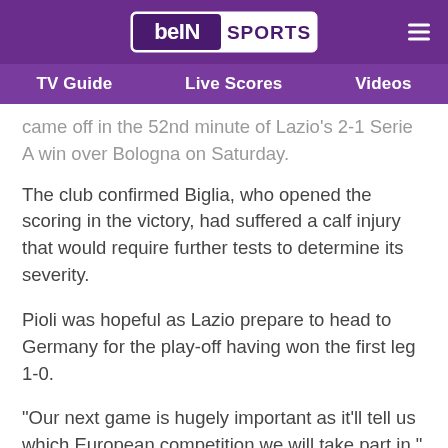beIN SPORTS
TV Guide | Live Scores | Videos
came off in the 52nd minute of Lazio's 2-1 Serie A win over Bologna on Saturday.
The club confirmed Biglia, who opened the scoring in the victory, had suffered a calf injury that would require further tests to determine its severity.
Pioli was hopeful as Lazio prepare to head to Germany for the play-off having won the first leg 1-0.
"Our next game is hugely important as it'll tell us which European competition we will take part in," he told Sky Sport Italia.